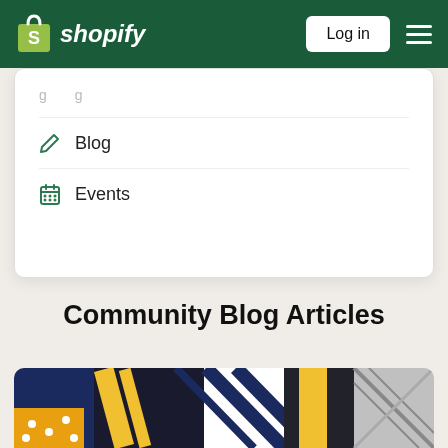Shopify — Log in
Blog
Events
Community Blog Articles
[Figure (photo): Close-up photo of various neckties: striped ties in navy/yellow and white/navy, and a plaid/houndstooth patterned tie with a yellow/polka-dot pocket square.]